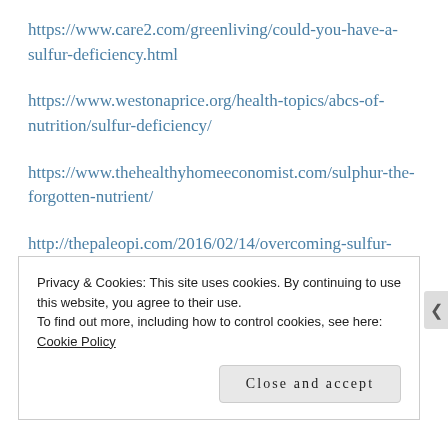https://www.care2.com/greenliving/could-you-have-a-sulfur-deficiency.html
https://www.westonaprice.org/health-topics/abcs-of-nutrition/sulfur-deficiency/
https://www.thehealthyhomeeconomist.com/sulphur-the-forgotten-nutrient/
http://thepaleopi.com/2016/02/14/overcoming-sulfur-
Privacy & Cookies: This site uses cookies. By continuing to use this website, you agree to their use.
To find out more, including how to control cookies, see here: Cookie Policy
Close and accept